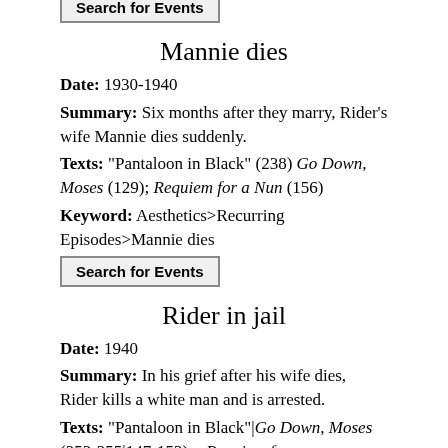Episodes>McCarron ambushed
Search for Events
Mannie dies
Date: 1930-1940
Summary: Six months after they marry, Rider's wife Mannie dies suddenly.
Texts: "Pantaloon in Black" (238) Go Down, Moses (129); Requiem for a Nun (156)
Keyword: Aesthetics>Recurring Episodes>Mannie dies
Search for Events
Rider in jail
Date: 1940
Summary: In his grief after his wife dies, Rider kills a white man and is arrested.
Texts: "Pantaloon in Black"|Go Down, Moses (252-255|147-152); ; Requiem for a